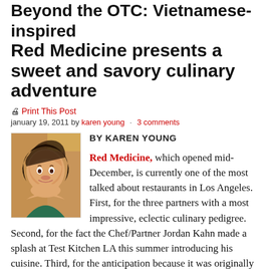Beyond the OTC: Vietnamese-inspired Red Medicine presents a sweet and savory culinary adventure
Print This Post
january 19, 2011 by karen young · 3 comments
[Figure (photo): Headshot photo of Karen Young, a woman with dark hair, smiling]
BY KAREN YOUNG

Red Medicine, which opened mid-December, is currently one of the most talked about restaurants in Los Angeles. First, for the three partners with a most impressive, eclectic culinary pedigree. Second, for the fact the Chef/Partner Jordan Kahn made a splash at Test Kitchen LA this summer introducing his cuisine. Third, for the anticipation because it was originally set to open last July. Fourth, for the brouhaha regarding their recent outing of LA Times